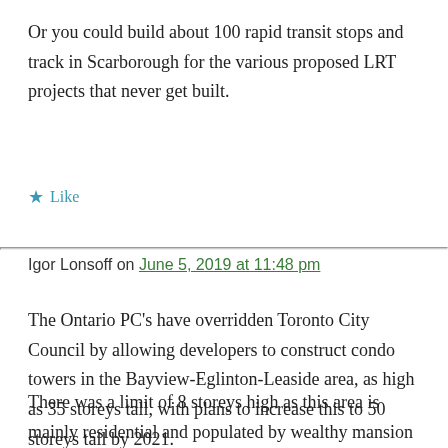Or you could build about 100 rapid transit stops and track in Scarborough for the various proposed LRT projects that never get built.
★ Like
Igor Lonsoff on June 5, 2019 at 11:48 pm
The Ontario PC's have overridden Toronto City Council by allowing developers to construct condo towers in the Bayview-Eglinton-Leaside area, as high as 35 storeys tall, with plans to increase this to 50 storeys tall by 2021.
There was a limit of 8 storeys high as this area is mainly residential and populated by wealthy mansion owners who would of course loathe